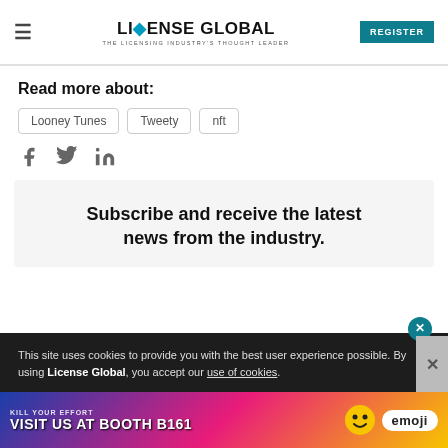LICENSE GLOBAL — THE LICENSING INDUSTRY'S THOUGHT LEADER | REGISTER
Read more about:
Looney Tunes
Tweety
nft
[Figure (infographic): Social share icons: Facebook, Twitter, LinkedIn]
Subscribe and receive the latest news from the industry.
This site uses cookies to provide you with the best user experience possible. By using License Global, you accept our use of cookies.
[Figure (illustration): Advertisement banner: VISIT US AT BOOTH B161 with emoji brand logo and colorful smiley face characters on a blue/pink background]